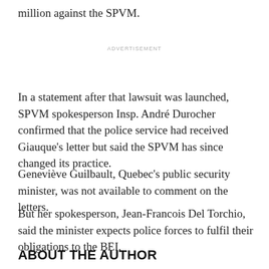million against the SPVM.
ADVERTISEMENT
In a statement after that lawsuit was launched, SPVM spokesperson Insp. André Durocher confirmed that the police service had received Giauque's letter but said the SPVM has since changed its practice.
Geneviève Guilbault, Quebec's public security minister, was not available to comment on the letters.
But her spokesperson, Jean-Francois Del Torchio, said the minister expects police forces to fulfil their obligations to the BEI.
ABOUT THE AUTHOR